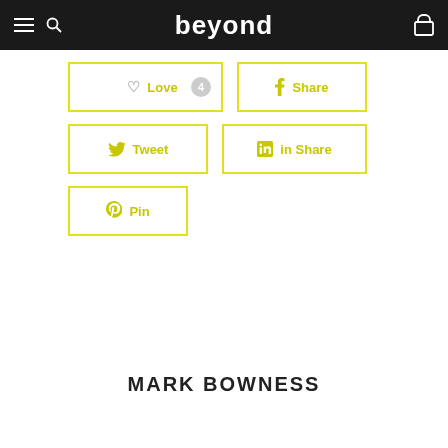beyond
[Figure (screenshot): Social sharing buttons: Love (4), Share (Facebook), Tweet (Twitter), Share (LinkedIn), Pin (Pinterest)]
MARK BOWNESS